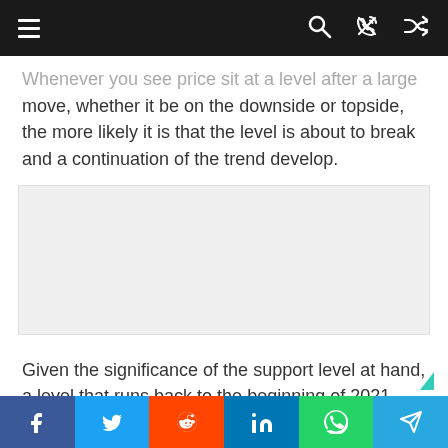Navigation bar with menu, search, and shuffle icons
Whenever you see price sit at a level after a large move, whether it be on the downside or topside, the more likely it is that the level is about to break and a continuation of the trend develop.
[Figure (other): Advertisement / placeholder gray box]
Given the significance of the support level at hand, a level that runs back to the beginning of 2021, and given the powerful reversal that came on the break earlier in the month, a breakdown
Social share bar: Facebook, Twitter, Reddit, LinkedIn, WhatsApp, Telegram